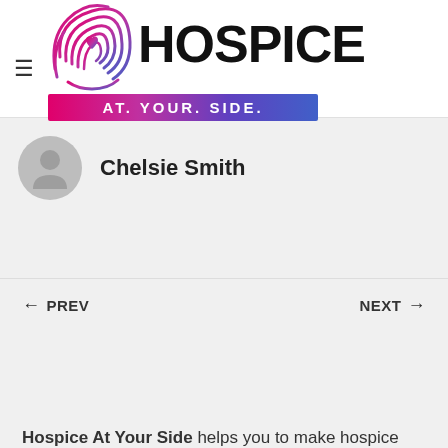[Figure (logo): Hospice At Your Side logo: fingerprint with heart icon, HOSPICE in bold black text, and 'AT. YOUR. SIDE.' in a gradient pink-to-blue banner]
Chelsie Smith
← PREV    NEXT →
Hospice At Your Side helps you to make hospice